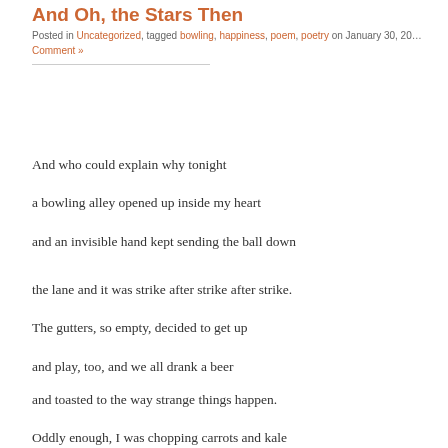And Oh, the Stars Then
Posted in Uncategorized, tagged bowling, happiness, poem, poetry on January 30, 20… Comment »
And who could explain why tonight

a bowling alley opened up inside my heart

and an invisible hand kept sending the ball down

the lane and it was strike after strike after strike.

The gutters, so empty, decided to get up

and play, too, and we all drank a beer

and toasted to the way strange things happen.

Oddly enough, I was chopping carrots and kale

this whole time, and could not help myself…